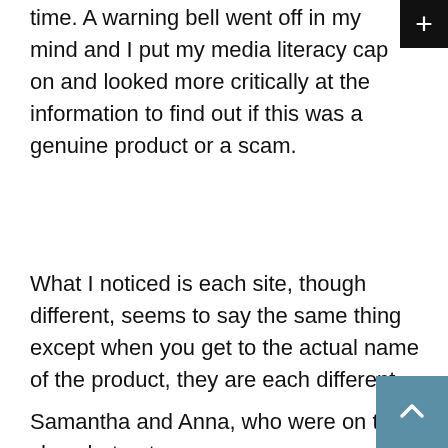time. A warning bell went off in my mind and I put my media literacy cap on and looked more critically at the information to find out if this was a genuine product or a scam.
What I noticed is each site, though different, seems to say the same thing except when you get to the actual name of the product, they are each different.
[Figure (screenshot): Cookie consent overlay with black background. Text: 'This website uses cookies to ensure you get the best experience on our website. Learn more' with a yellow 'Got it!' button.]
Samantha and Anna, who were on the show but not